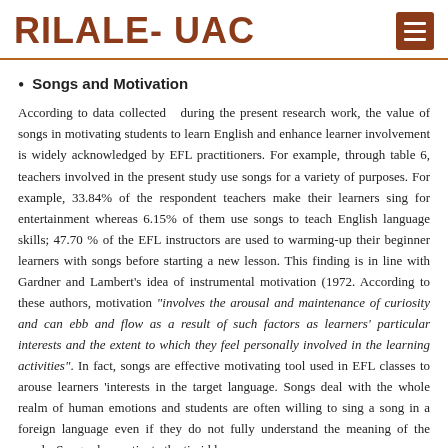RILALE- UAC
Songs and Motivation
According to data collected   during the present research work, the value of songs in motivating students to learn English and enhance learner involvement is widely acknowledged by EFL practitioners. For example, through table 6, teachers involved in the present study use songs for a variety of purposes. For example, 33.84% of the respondent teachers make their learners sing for entertainment whereas 6.15% of them use songs to teach English language skills; 47.70 % of the EFL instructors are used to warming-up their beginner learners with songs before starting a new lesson. This finding is in line with Gardner and Lambert’s idea of instrumental motivation (1972. According to these authors, motivation “involves the arousal and maintenance of curiosity and can ebb and flow as a result of such factors as learners’ particular interests and the extent to which they feel personally involved in the learning activities”. In fact, songs are effective motivating tool used in EFL classes to arouse learners ‘interests in the target language. Songs deal with the whole realm of human emotions and students are often willing to sing a song in a foreign language even if they do not fully understand the meaning of the words. Songs also motivate the timid learners